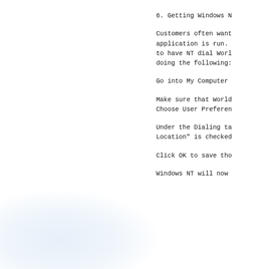6. Getting Windows N
Customers often want
application is run.
to have NT dial Worl
doing the following:
Go into My Computer
Make sure that World
Choose User Preferen
Under the Dialing ta
Location" is checked
Click OK to save tho
Windows NT will now